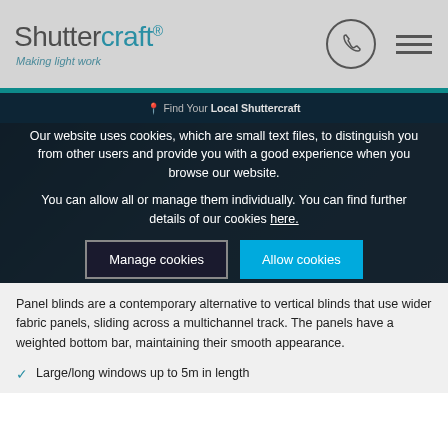Shuttercraft® Making light work
Find Your Local Shuttercraft
Our website uses cookies, which are small text files, to distinguish you from other users and provide you with a good experience when you browse our website.

You can allow all or manage them individually. You can find further details of our cookies here.
Manage cookies
Allow cookies
Panel blinds are a contemporary alternative to vertical blinds that use wider fabric panels, sliding across a multichannel track. The panels have a weighted bottom bar, maintaining their smooth appearance.
Large/long windows up to 5m in length